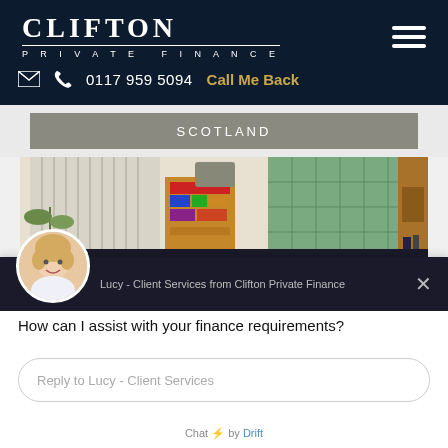CLIFTON PRIVATE FINANCE — 0117 959 5094 Call Me Back
[Figure (screenshot): Website header with Clifton Private Finance logo, phone number, Call Me Back link, hamburger menu, and navigation bar showing SCOTLAND tab]
[Figure (photo): Interior room photo showing a living space with vertical blinds, bookshelf with colorful books, green quilted headboard or wall panel, and wooden furniture]
[Figure (screenshot): Chat widget from Drift showing Lucy - Client Services from Clifton Private Finance avatar and message]
How can I assist with your finance requirements?
Reply to Lucy - Client Services
Chat by Drift